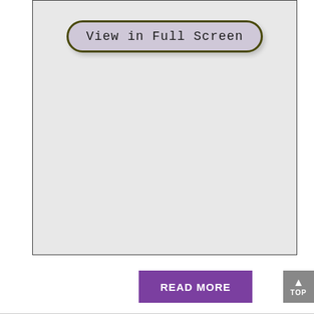[Figure (screenshot): A large light gray content area box with a 'View in Full Screen' button at the top center. The button has a lavender/light purple background with a dark olive-green border and rounded corners. Below is an empty gray space.]
READ MORE
TOP